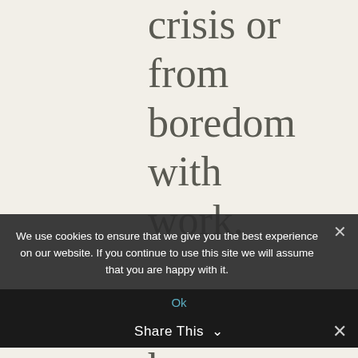crisis or from boredom with work.

If I'm honest, my inner restlessness is coming from a lingering self-doubt: is are going in our
We use cookies to ensure that we give you the best experience on our website. If you continue to use this site we will assume that you are happy with it.
Ok
Share This